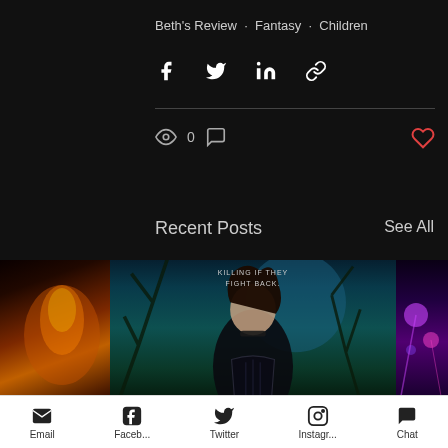Beth's Review · Fantasy · Children
[Figure (screenshot): Social share icons: Facebook, Twitter, LinkedIn, Link]
[Figure (screenshot): View count: 0, comment icon, heart/like icon]
Recent Posts
See All
[Figure (photo): Book cover image of a woman in dark leather armor with text 'KILLING IF THEY FIGHT BACK.' against a teal moonlit forest backdrop, flanked by partial images of other book covers]
Email  Faceb...  Twitter  Instagr...  Chat